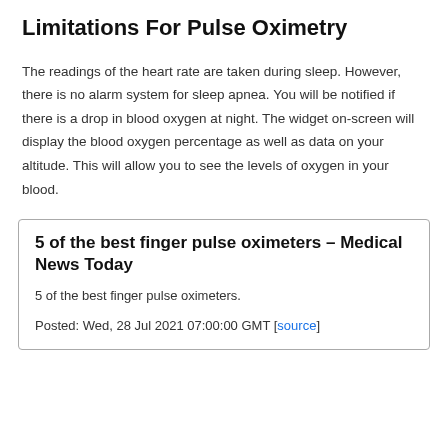Limitations For Pulse Oximetry
The readings of the heart rate are taken during sleep. However, there is no alarm system for sleep apnea. You will be notified if there is a drop in blood oxygen at night. The widget on-screen will display the blood oxygen percentage as well as data on your altitude. This will allow you to see the levels of oxygen in your blood.
5 of the best finger pulse oximeters – Medical News Today
5 of the best finger pulse oximeters.
Posted: Wed, 28 Jul 2021 07:00:00 GMT [source]